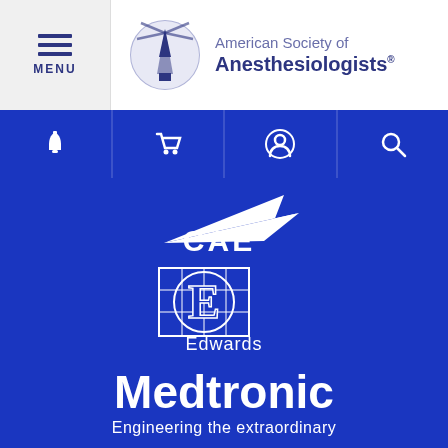[Figure (logo): American Society of Anesthesiologists website header with hamburger menu, ASA lighthouse logo, and organization name]
[Figure (logo): Navigation bar with bell, cart, person, and search icons on blue background]
[Figure (logo): CAE logo - white arrow/aircraft shape with CAE text on blue background]
[Figure (logo): Edwards Lifesciences logo - stylized E in grid square with Edwards text on blue background]
[Figure (logo): Medtronic logo with tagline Engineering the extraordinary on blue background]